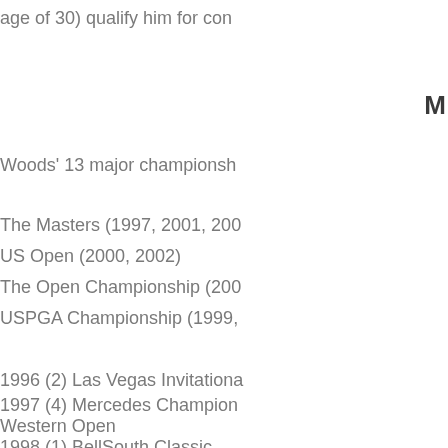age of 30) qualify him for con
M
Woods' 13 major championsh
The Masters (1997, 2001, 200
US Open (2000, 2002)
The Open Championship (200
USPGA Championship (1999,
1996 (2) Las Vegas Invitationa
1997 (4) Mercedes Champion
Western Open
1998 (1) BellSouth Classic